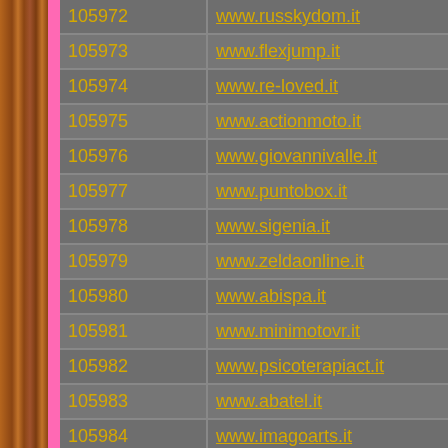| ID | URL |
| --- | --- |
| 105972 | www.russkydom.it |
| 105973 | www.flexjump.it |
| 105974 | www.re-loved.it |
| 105975 | www.actionmoto.it |
| 105976 | www.giovannivalle.it |
| 105977 | www.puntobox.it |
| 105978 | www.sigenia.it |
| 105979 | www.zeldaonline.it |
| 105980 | www.abispa.it |
| 105981 | www.minimotovr.it |
| 105982 | www.psicoterapiact.it |
| 105983 | www.abatel.it |
| 105984 | www.imagoarts.it |
| 105985 | www.sandriniserrande.it |
| 105986 | www.gruppofratispa.it |
| 105987 | www.teknosmoke.it |